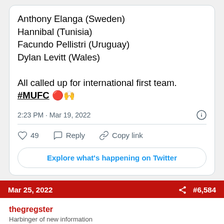Anthony Elanga (Sweden)
Hannibal (Tunisia)
Facundo Pellistri (Uruguay)
Dylan Levitt (Wales)

All called up for international first team.
#MUFC 🔴🙌
2:23 PM · Mar 19, 2022
49  Reply  Copy link
Explore what's happening on Twitter
Mar 25, 2022  #6,584
thegregster
Harbinger of new information